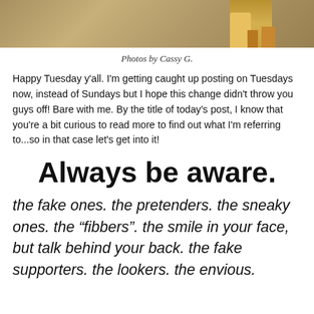[Figure (photo): Cropped photo showing feet/shoes with yellow leopard print heels on a concrete/wooden surface, green dress visible]
Photos by Cassy G.
Happy Tuesday y'all. I'm getting caught up posting on Tuesdays now, instead of Sundays but I hope this change didn't throw you guys off! Bare with me. By the title of today's post, I know that you're a bit curious to read more to find out what I'm referring to...so in that case let's get into it!
Always be aware.
the fake ones. the pretenders. the sneaky ones. the “fibbers”. the smile in your face, but talk behind your back. the fake supporters. the lookers. the envious.